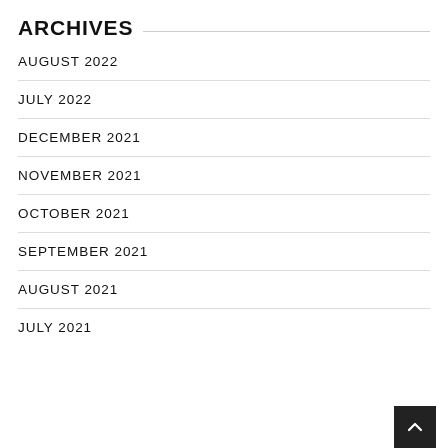ARCHIVES
AUGUST 2022
JULY 2022
DECEMBER 2021
NOVEMBER 2021
OCTOBER 2021
SEPTEMBER 2021
AUGUST 2021
JULY 2021